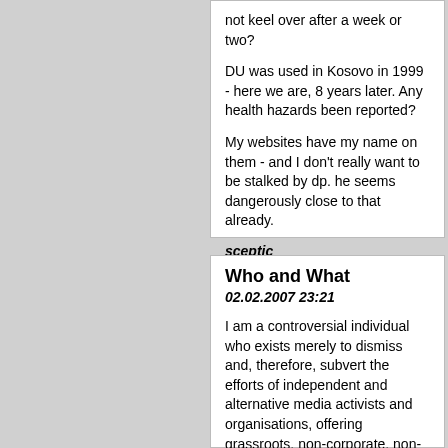not keel over after a week or two?

DU was used in Kosovo in 1999 - here we are, 8 years later. Any health hazards been reported?

My websites have my name on them - and I don't really want to be stalked by dp. he seems dangerously close to that already.
sceptic
Who and What
02.02.2007 23:21
I am a controversial individual who exists merely to dismiss and, therefore, subvert the efforts of independent and alternative media activists and organisations, offering grassroots, non-corporate, non-commercial coverage of important social and political issues.